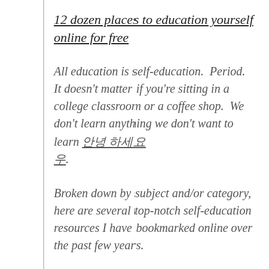12 dozen places to education yourself online for free
All education is self-education.  Period.  It doesn't matter if you're sitting in a college classroom or a coffee shop.  We don't learn anything we don't want to learn 안녕 하세요.
Broken down by subject and/or category, here are several top-notch self-education resources I have bookmarked online over the past few years.